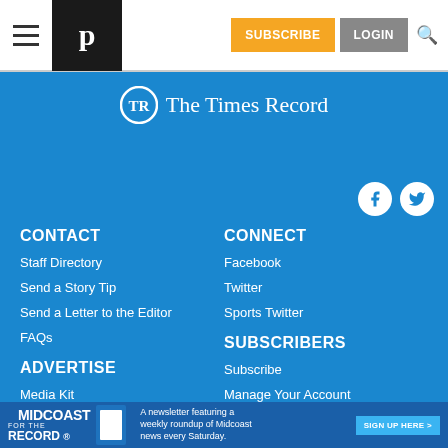Navigation bar with hamburger menu, The Times Record logo (P), SUBSCRIBE button, LOGIN button, search icon
[Figure (logo): The Times Record masthead logo with TR monogram circle and text 'The Times Record' in white on blue background]
CONTACT
CONNECT
Staff Directory
Facebook
Send a Story Tip
Twitter
Send a Letter to the Editor
Sports Twitter
FAQs
SUBSCRIBERS
ADVERTISE
Subscribe
Media Kit
Manage Your Account
[Figure (infographic): Midcoast Record newsletter advertisement banner with text 'A newsletter featuring a weekly roundup of Midcoast news every Saturday. SIGN UP HERE >']